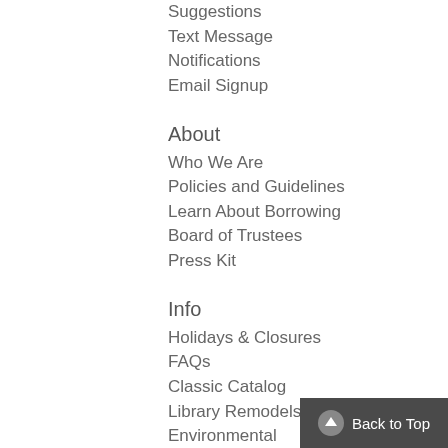Suggestions
Text Message
Notifications
Email Signup
About
Who We Are
Policies and Guidelines
Learn About Borrowing
Board of Trustees
Press Kit
Info
Holidays & Closures
FAQs
Classic Catalog
Library Remodels
Environmental Sustainability
Get Involved
Careers at Arapahoe Libraries
Partnerships